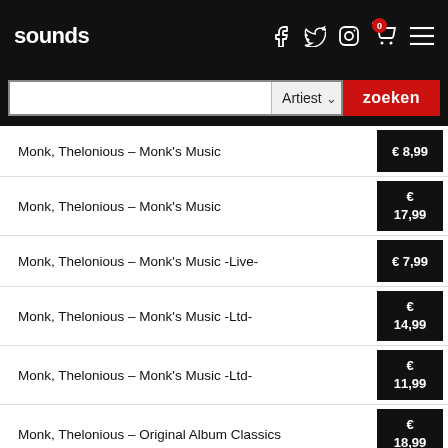sounds
Monk, Thelonious - Monk's Music   € 8,99
Monk, Thelonious - Monk's Music   € 17,99
Monk, Thelonious - Monk's Music -Live-   € 7,99
Monk, Thelonious - Monk's Music -Ltd-   € 14,99
Monk, Thelonious - Monk's Music -Ltd-   € 11,99
Monk, Thelonious - Original Album Classics   € 18,99
Monk, Thelonious - Palo Alto   € 18,99
Monk, Thelonious - Palo Alto   € 34,99